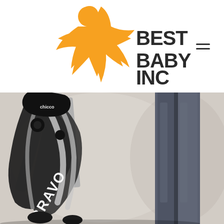[Figure (logo): Best Baby Inc logo: orange star shape with figure character and bold black text 'BEST BABY INC']
[Figure (photo): Photo of a folded Chicco Bravo stroller being carried by a person wearing jeans, with blurred background]